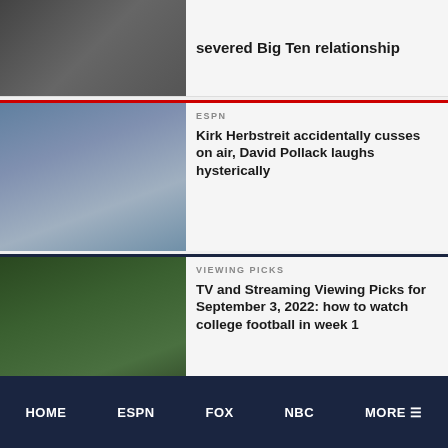[Figure (photo): Partial top article thumbnail showing broadcast desk setup]
severed Big Ten relationship
[Figure (photo): Kirk Herbstreit in blue blazer at ESPN broadcast desk]
ESPN
Kirk Herbstreit accidentally cusses on air, David Pollack laughs hysterically
[Figure (photo): College football players on field, Notre Dame game]
VIEWING PICKS
TV and Streaming Viewing Picks for September 3, 2022: how to watch college football in week 1
[Figure (photo): Aaron Rodgers close-up photo]
PODCASTS
Aaron Rodgers says year-
HOME   ESPN   FOX   NBC   MORE